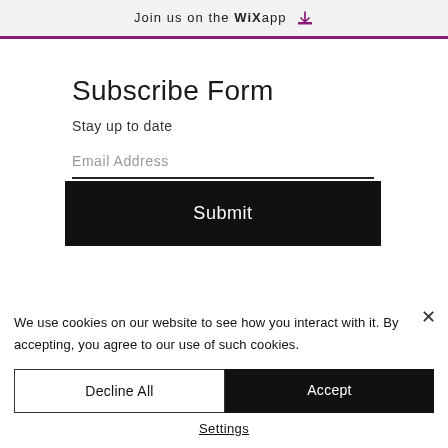Join us on the WiX app ↓
Subscribe Form
Stay up to date
Email Address
Submit
We use cookies on our website to see how you interact with it. By accepting, you agree to our use of such cookies.
Decline All
Accept
Settings